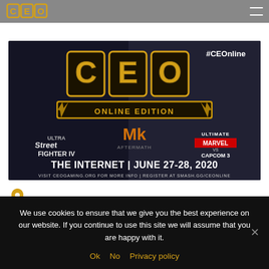CEO Gaming header navigation
[Figure (illustration): CEO Online Edition gaming tournament promotional image. Large golden 'CEO' logo on dark background with text '#CEOOnline'. Below shows 'ONLINE EDITION' banner. Game logos for Ultra Street Fighter IV, MK Aftermath, and Ultimate Marvel vs Capcom 3. Text reads: THE INTERNET | JUNE 27-28, 2020. VISIT CEOGAMING.ORG FOR MORE INFO | REGISTER AT SMASH.GG/CEONLINE]
We use cookies to ensure that we give you the best experience on our website. If you continue to use this site we will assume that you are happy with it.
Ok   No   Privacy policy